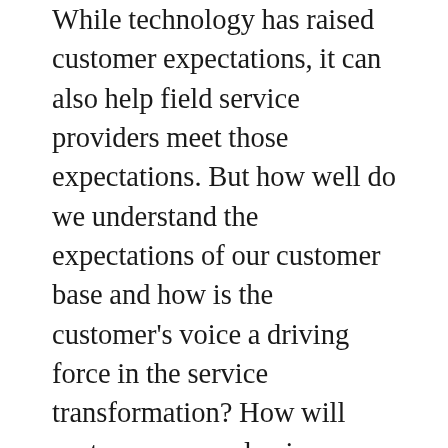While technology has raised customer expectations, it can also help field service providers meet those expectations. But how well do we understand the expectations of our customer base and how is the customer's voice a driving force in the service transformation? How will customers see value in new service offerings and how can we future-proof the supply of the same? All of these questions, and more, formed the focus of this session with Rob Merkus, EMEA Service Director at Hitachi Medical Systems, and Jan van Veen, Founder & General Manager at moreMomentum, as we examined the service delivery chain from the customer perspective, the best ways to adapt to evolving customer expectations, and the business opportunities therein. Watch the on